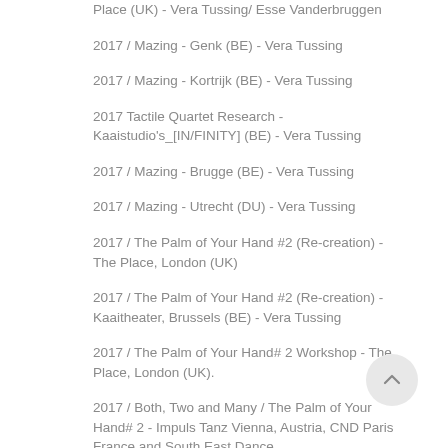Place (UK) - Vera Tussing/ Esse Vanderbruggen
2017 / Mazing - Genk (BE) - Vera Tussing
2017 / Mazing - Kortrijk (BE) - Vera Tussing
2017 Tactile Quartet Research - Kaaistudio's_[IN/FINITY] (BE) - Vera Tussing
2017 / Mazing - Brugge (BE) - Vera Tussing
2017 / Mazing - Utrecht (DU) - Vera Tussing
2017 / The Palm of Your Hand #2 (Re-creation) - The Place, London (UK)
2017 / The Palm of Your Hand #2 (Re-creation) - Kaaitheater, Brussels (BE) - Vera Tussing
2017 / The Palm of Your Hand# 2 Workshop - The Place, London (UK).
2017 / Both, Two and Many / The Palm of Your Hand# 2 - Impuls Tanz Vienna, Austria, CND Paris France and South East Dance